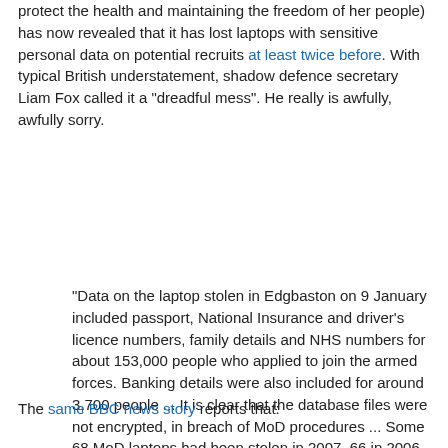protect the health and maintaining the freedom of her people) has now revealed that it has lost laptops with sensitive personal data on potential recruits at least twice before. With typical British understatement, shadow defence secretary Liam Fox called it a "dreadful mess". He really is awfully, awfully sorry.
"Data on the laptop stolen in Edgbaston on 9 January included passport, National Insurance and driver's licence numbers, family details and NHS numbers for about 153,000 people who applied to join the armed forces. Banking details were also included for around 3,700 people ... It is clear that the database files were not encrypted, in breach of MoD procedures ... Some 68 MoD laptops had been stolen in 2007, 66 in 2006, 40 in 2005 and 173 in 2004."
The same BBC news story reports that: